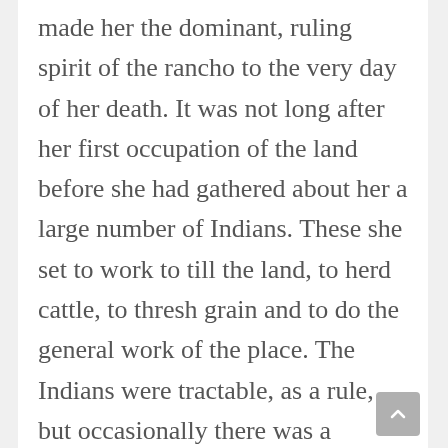made her the dominant, ruling spirit of the rancho to the very day of her death. It was not long after her first occupation of the land before she had gathered about her a large number of Indians. These she set to work to till the land, to herd cattle, to thresh grain and to do the general work of the place. The Indians were tractable, as a rule, but occasionally there was a mutiny, and during troublesome times the bravery of the pioneer woman is said to have been greater than that of her sons. In those days firearms were exceedingly scarce. The